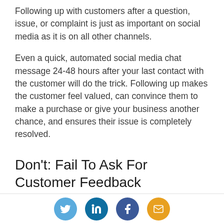Following up with customers after a question, issue, or complaint is just as important on social media as it is on all other channels.
Even a quick, automated social media chat message 24-48 hours after your last contact with the customer will do the trick. Following up makes the customer feel valued, can convince them to make a purchase or give your business another chance, and ensures their issue is completely resolved.
Don't: Fail To Ask For Customer Feedback
Whenever you make an outbound customer
[Figure (other): Social media share buttons: Twitter (blue), LinkedIn (dark blue), Facebook (dark blue), Email (orange)]